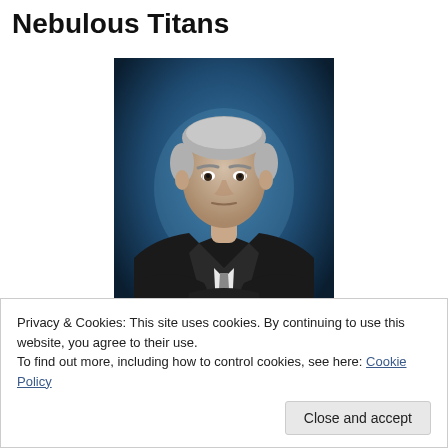Nebulous Titans
[Figure (photo): Professional portrait photo of an older man with grey hair wearing a black suit with arms crossed, against a dark blue gradient background]
Privacy & Cookies: This site uses cookies. By continuing to use this website, you agree to their use.
To find out more, including how to control cookies, see here: Cookie Policy
Close and accept